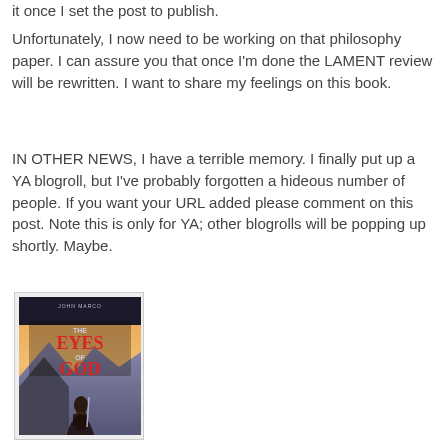it once I set the post to publish.
Unfortunately, I now need to be working on that philosophy paper. I can assure you that once I'm done the LAMENT review will be rewritten. I want to share my feelings on this book.
IN OTHER NEWS, I have a terrible memory. I finally put up a YA blogroll, but I've probably forgotten a hideous number of people. If you want your URL added please comment on this post. Note this is only for YA; other blogrolls will be popping up shortly. Maybe.
[Figure (illustration): Book cover of 'The Eyes of God' by John Marco, showing a warrior figure in armor against a sunset/mountain background, with the title in large red text.]